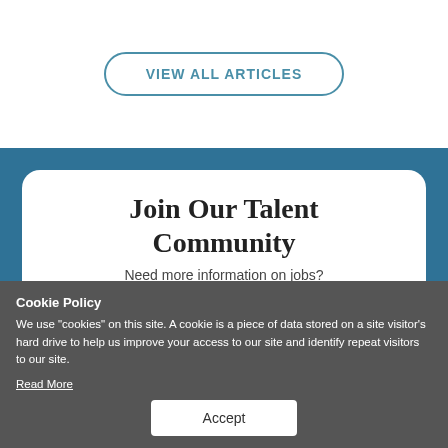VIEW ALL ARTICLES
Join Our Talent Community
Need more information on jobs?
"(Required)" indicates required fields
First Name (Required)
First Name
Last Name (Required)
Cookie Policy
We use “cookies” on this site. A cookie is a piece of data stored on a site visitor’s hard drive to help us improve your access to our site and identify repeat visitors to our site.
Read More
Accept